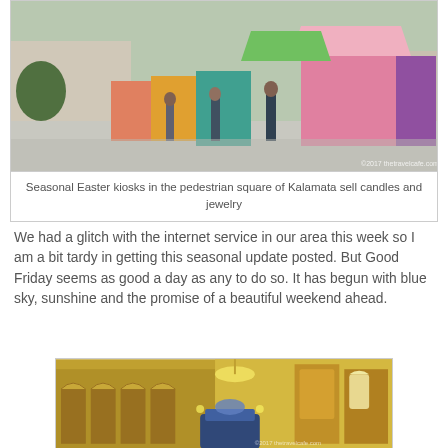[Figure (photo): Colorful Easter market kiosks shaped like small houses in pink, green, purple, and teal colors in a pedestrian square in Kalamata, with people browsing]
Seasonal Easter kiosks in the pedestrian square of Kalamata sell candles and jewelry
We had a glitch with the internet service in our area this week so I am a bit tardy in getting this seasonal update posted. But Good Friday seems as good a day as any to do so. It has begun with blue sky, sunshine and the promise of a beautiful weekend ahead.
[Figure (photo): Interior of a Greek Orthodox church decorated with icons and chandeliers, with an ornate epitaphios bier visible]